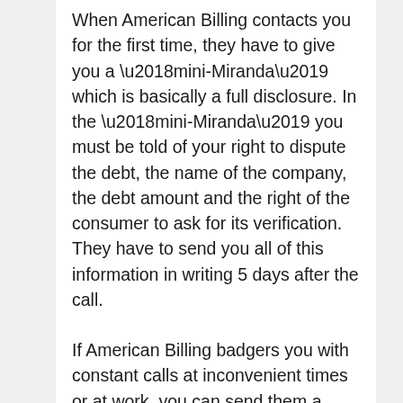When American Billing contacts you for the first time, they have to give you a ‘mini-Miranda’ which is basically a full disclosure. In the ‘mini-Miranda’ you must be told of your right to dispute the debt, the name of the company, the debt amount and the right of the consumer to ask for its verification. They have to send you all of this information in writing 5 days after the call.
If American Billing badgers you with constant calls at inconvenient times or at work, you can send them a cease communication letter. They cannot contact you during the specified time you mention, can only contact through letters or you can ask them to stop contacting at all. If they have to contact, it